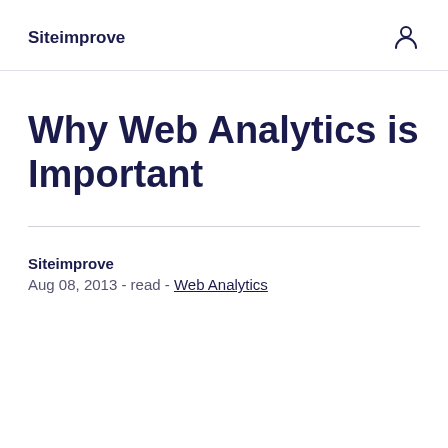Siteimprove
Why Web Analytics is Important
Siteimprove
Aug 08, 2013 - read - Web Analytics